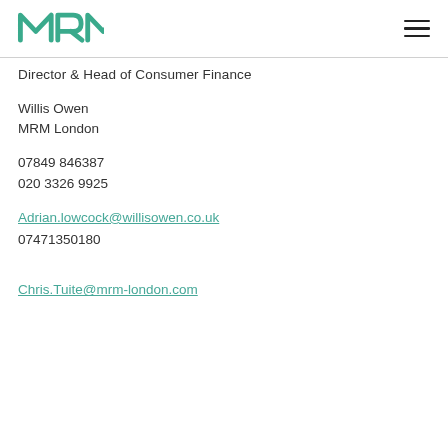MRM [logo] [hamburger menu]
Director & Head of Consumer Finance
Willis Owen
MRM London
07849 846387
020 3326 9925
Adrian.lowcock@willisowen.co.uk
07471350180
Chris.Tuite@mrm-london.com